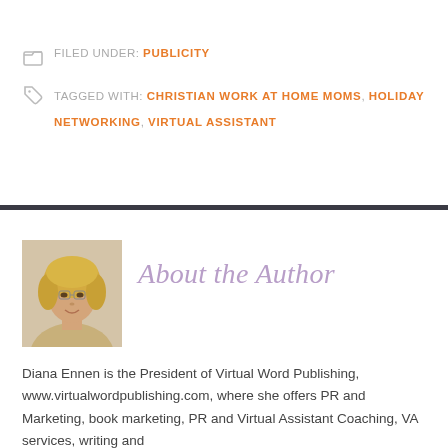FILED UNDER: PUBLICITY
TAGGED WITH: CHRISTIAN WORK AT HOME MOMS, HOLIDAY NETWORKING, VIRTUAL ASSISTANT
[Figure (photo): Headshot of a smiling blonde woman, the author Diana Ennen]
About the Author
Diana Ennen is the President of Virtual Word Publishing, www.virtualwordpublishing.com, where she offers PR and Marketing, book marketing, PR and Virtual Assistant Coaching, VA services, writing and